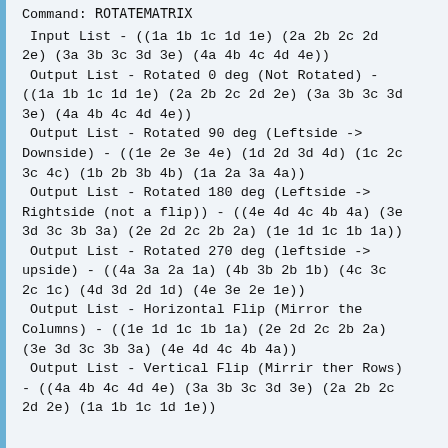Command: ROTATEMATRIX
Input List - ((1a 1b 1c 1d 1e) (2a 2b 2c 2d 2e) (3a 3b 3c 3d 3e) (4a 4b 4c 4d 4e))
Output List - Rotated 0 deg (Not Rotated) - ((1a 1b 1c 1d 1e) (2a 2b 2c 2d 2e) (3a 3b 3c 3d 3e) (4a 4b 4c 4d 4e))
Output List - Rotated 90 deg (Leftside -> Downside) - ((1e 2e 3e 4e) (1d 2d 3d 4d) (1c 2c 3c 4c) (1b 2b 3b 4b) (1a 2a 3a 4a))
Output List - Rotated 180 deg (Leftside -> Rightside (not a flip)) - ((4e 4d 4c 4b 4a) (3e 3d 3c 3b 3a) (2e 2d 2c 2b 2a) (1e 1d 1c 1b 1a))
Output List - Rotated 270 deg (leftside -> upside) - ((4a 3a 2a 1a) (4b 3b 2b 1b) (4c 3c 2c 1c) (4d 3d 2d 1d) (4e 3e 2e 1e))
Output List - Horizontal Flip (Mirror the Columns) - ((1e 1d 1c 1b 1a) (2e 2d 2c 2b 2a) (3e 3d 3c 3b 3a) (4e 4d 4c 4b 4a))
Output List - Vertical Flip (Mirrir ther Rows) - ((4a 4b 4c 4d 4e) (3a 3b 3c 3d 3e) (2a 2b 2c 2d 2e) (1a 1b 1c 1d 1e))